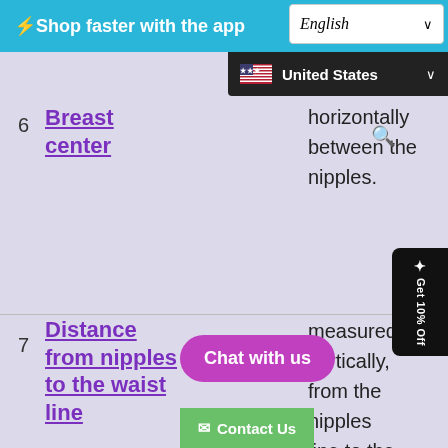⚡Shop faster with the app
English (dropdown)
United States (dropdown)
| # | Measurement |  | Description |
| --- | --- | --- | --- |
| 6 | Breast center |  | horizontally between the nipples. |
| 7 | Distance from nipples to the waist line |  | measured vertically, from the nipples line to the waist line (ti... the b... aroun... the... |
[Figure (screenshot): Promo badge: Get 10% Off with sparkle icon]
Chat with us
Contact Us